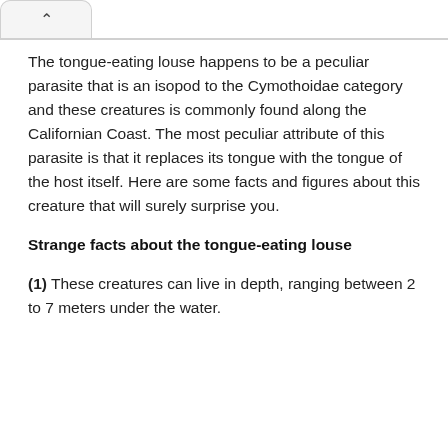The tongue-eating louse happens to be a peculiar parasite that is an isopod to the Cymothoidae category and these creatures is commonly found along the Californian Coast. The most peculiar attribute of this parasite is that it replaces its tongue with the tongue of the host itself. Here are some facts and figures about this creature that will surely surprise you.
Strange facts about the tongue-eating louse
(1) These creatures can live in depth, ranging between 2 to 7 meters under the water.